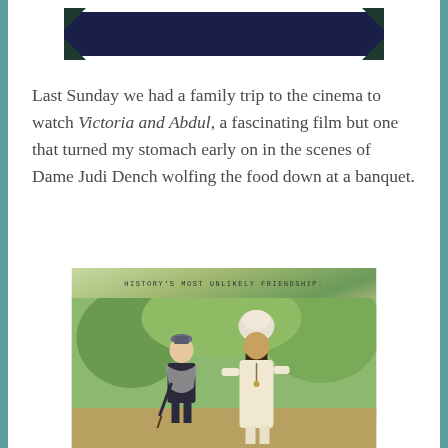[Figure (other): Dark rectangular banner/header graphic with decorative dark green corner elements and a dark navy central rectangle, resembling a film title card.]
Last Sunday we had a family trip to the cinema to watch Victoria and Abdul, a fascinating film but one that turned my stomach early on in the scenes of Dame Judi Dench wolfing the food down at a banquet.
[Figure (photo): Promotional movie still from Victoria and Abdul showing two figures — a shorter older woman in dark Victorian dress with a shawl and cane (Dame Judi Dench as Queen Victoria) and a taller man in white robes and a turban (Abdul) — standing together outdoors in a lush green garden setting. Text overlay reads: HISTORY'S MOST UNLIKELY FRIENDSHIP.]